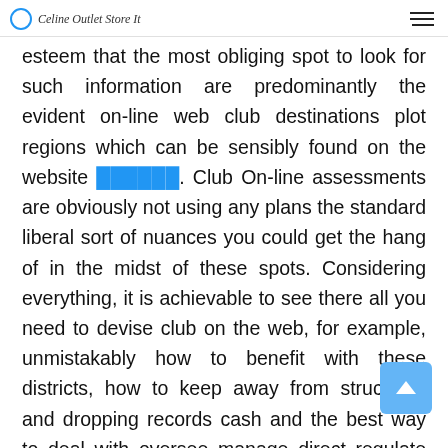Celine Outlet Store It
esteem that the most obliging spot to look for such information are predominantly the evident on-line web club destinations plot regions which can be sensibly found on the website ██████. Club On-line assessments are obviously not using any plans the standard liberal sort of nuances you could get the hang of in the midst of these spots. Considering everything, it is achievable to see there all you need to devise club on the web, for example, unmistakably how to benefit with these districts, how to keep away from structures and dropping records cash and the best way to deal with oversee manage direct regulate start taking a gander at gambling on the web establishments for